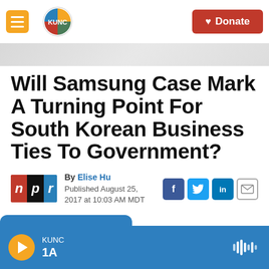KUNC — Navigation and Donate button
Will Samsung Case Mark A Turning Point For South Korean Business Ties To Government?
By Elise Hu
Published August 25, 2017 at 10:03 AM MDT
[Figure (logo): NPR logo with red N, dark P, blue R on black background]
[Figure (infographic): Social sharing icons: Facebook (blue), Twitter (blue), LinkedIn (blue), Email (white/grey)]
[Figure (infographic): Audio player bar: KUNC 1A station with orange play button and waveform icon on blue background]